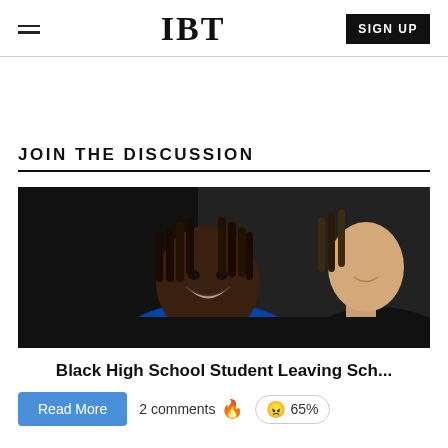IBT
JOIN THE DISCUSSION
[Figure (photo): Two young people, one Black student with dreadlocks smiling, another person partially visible behind, against a dark background.]
Black High School Student Leaving Sch...
Read More   2 comments 🔥   😠 65%